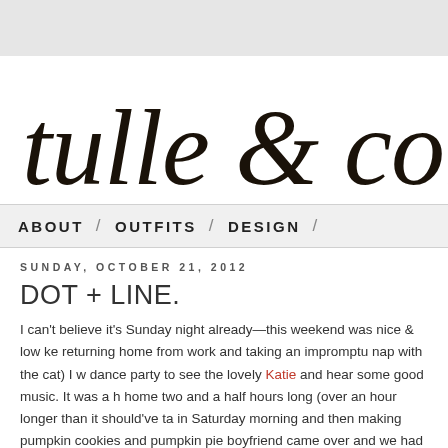[Figure (logo): Cursive/script logo reading 'tulle & comba' (partially visible), hand-lettered style in black]
ABOUT / OUTFITS / DESIGN /
SUNDAY, OCTOBER 21, 2012
DOT + LINE.
I can't believe it's Sunday night already—this weekend was nice & low ke returning home from work and taking an impromptu nap with the cat) I w dance party to see the lovely Katie and hear some good music. It was a h home two and a half hours long (over an hour longer than it should've ta in Saturday morning and then making pumpkin cookies and pumpkin pie boyfriend came over and we had a great night of pumpkin things, chine Monopoly & Star Trek Catan). Overall, a great weekend.